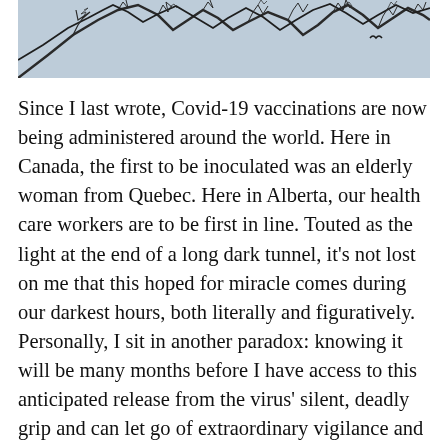[Figure (photo): Photograph of bare tree branches against a light blue-grey sky, cropped to a wide horizontal strip at the top of the page.]
Since I last wrote, Covid-19 vaccinations are now being administered around the world. Here in Canada, the first to be inoculated was an elderly woman from Quebec. Here in Alberta, our health care workers are to be first in line. Touted as the light at the end of a long dark tunnel, it's not lost on me that this hoped for miracle comes during our darkest hours, both literally and figuratively. Personally, I sit in another paradox: knowing it will be many months before I have access to this anticipated release from the virus' silent, deadly grip and can let go of extraordinary vigilance and precaution, countered by the desire to hang on